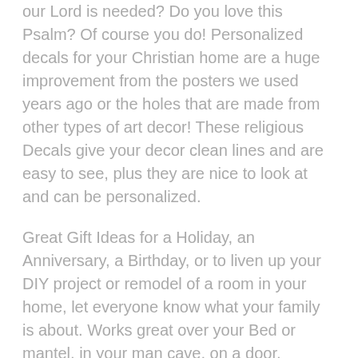our Lord is needed? Do you love this Psalm? Of course you do! Personalized decals for your Christian home are a huge improvement from the posters we used years ago or the holes that are made from other types of art decor! These religious Decals give your decor clean lines and are easy to see, plus they are nice to look at and can be personalized.
Great Gift Ideas for a Holiday, an Anniversary, a Birthday, or to liven up your DIY project or remodel of a room in your home, let everyone know what your family is about. Works great over your Bed or mantel, in your man cave, on a door, mirrors, picture frames, car windows and any other smooth, hard surface! YES, they are Apartment friendly and great if you like to